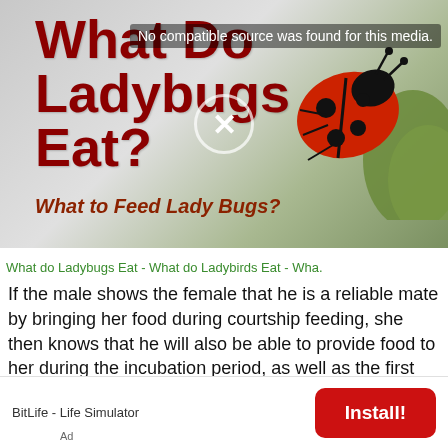[Figure (screenshot): Video thumbnail showing 'What Do Ladybugs Eat? What to Feed Lady Bugs?' with a ladybug image and a 'No compatible source was found for this media.' error message overlay and an X close button]
What do Ladybugs Eat - What do Ladybirds Eat - Wha.
If the male shows the female that he is a reliable mate by bringing her food during courtship feeding, she then knows that he will also be able to provide food to her during the incubation period, as well as the first few weeks of the chicks' lives after birth.
BitLife - Life Simulator
Install!
Ad